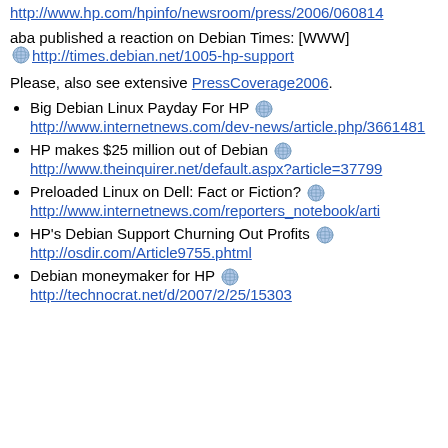Press release by HP: [WWW] http://www.hp.com/hpinfo/newsroom/press/2006/060814…
aba published a reaction on Debian Times: [WWW] http://times.debian.net/1005-hp-support
Please, also see extensive PressCoverage2006.
Big Debian Linux Payday For HP [globe] http://www.internetnews.com/dev-news/article.php/3661481
HP makes $25 million out of Debian [globe] http://www.theinquirer.net/default.aspx?article=37799
Preloaded Linux on Dell: Fact or Fiction? [globe] http://www.internetnews.com/reporters_notebook/arti…
HP's Debian Support Churning Out Profits [globe] http://osdir.com/Article9755.phtml
Debian moneymaker for HP [globe] http://technocrat.net/d/2007/2/25/15303